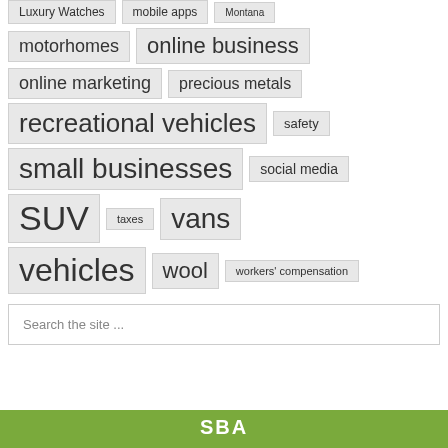Luxury Watches
mobile apps
Montana
motorhomes
online business
online marketing
precious metals
recreational vehicles
safety
small businesses
social media
SUV
taxes
vans
vehicles
wool
workers' compensation
Search the site ...
SBA